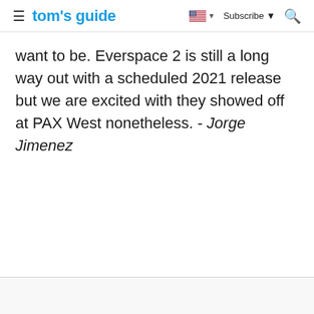tom's guide | Subscribe
want to be. Everspace 2 is still a long way out with a scheduled 2021 release but we are excited with they showed off at PAX West nonetheless. - Jorge Jimenez